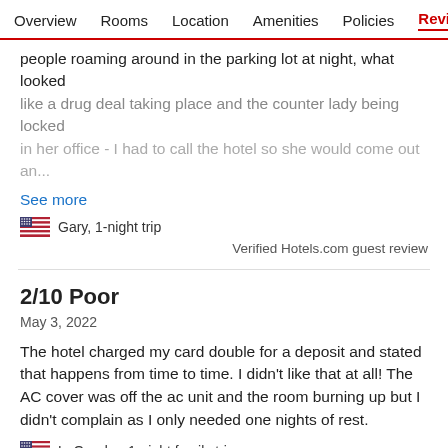Overview  Rooms  Location  Amenities  Policies  Reviews
people roaming around in the parking lot at night, what looked like a drug deal taking place and the counter lady being locked in her office - I had to call the hotel so she would come out an...
See more
Gary, 1-night trip
Verified Hotels.com guest review
2/10 Poor
May 3, 2022
The hotel charged my card double for a deposit and stated that happens from time to time. I didn't like that at all! The AC cover was off the ac unit and the room burning up but I didn't complain as I only needed one nights of rest.
LaQundra, 1-night family trip
Verified Hotels.com guest review
2/10 Poor